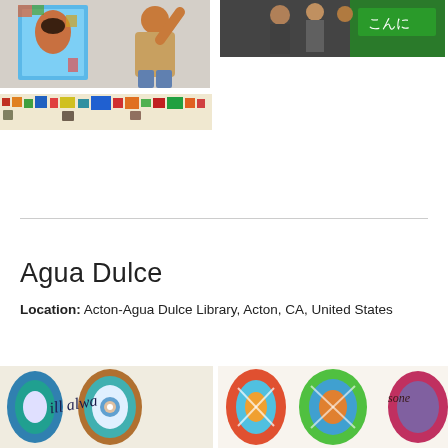[Figure (photo): Photo of a child touching a colorful illuminated portrait artwork on a wall]
[Figure (photo): Photo of students near a green board with Japanese text 'konnichiwa']
[Figure (photo): Wide panoramic strip photo of a colorful mosaic or tile artwork display]
Agua Dulce
Location: Acton-Agua Dulce Library, Acton, CA, United States
[Figure (photo): Decorative painted surfboard or oval artwork with mandala pattern and cursive text 'will alwa...']
[Figure (photo): Colorful painted surfboard or oval artworks with geometric patterns on a wall]